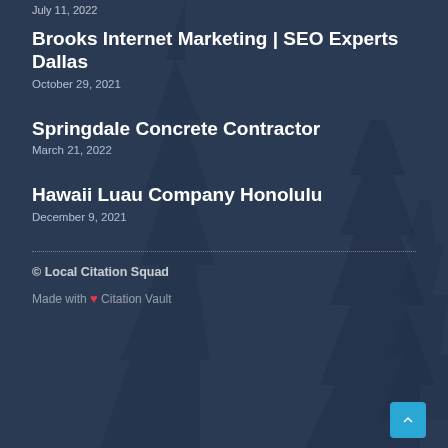July 11, 2022
Brooks Internet Marketing | SEO Experts Dallas
October 29, 2021
Springdale Concrete Contractor
March 21, 2022
Hawaii Luau Company Honolulu
December 9, 2021
© Local Citation Squad
Made with ❤ Citation Vault